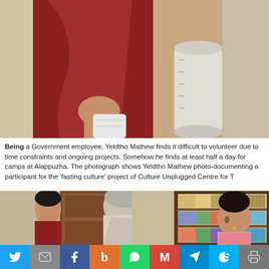[Figure (photo): Top portion of a photograph showing a person in a reddish/maroon sari standing near a chair, with a white cylindrical object visible]
Being a Government employee, Yeldtho Mathew finds it difficult to volunteer due to time constraints and ongoing projects. Somehow he finds at least half a day for camps at Alappuzha. The photograph shows Yeldtho Mathew photo-documenting a participant for the 'fasting culture' project of Culture Unplugged Centre for T
[Figure (photo): Interior room scene with an elderly grey-haired man seen from behind, a woman in a pink salwar kameez with jewelry, and shelves of folded clothes/fabrics visible in background along with a wooden door]
[Figure (infographic): Social media sharing bar with icons for Twitter, Email, Facebook, Buffer, WhatsApp, Gmail, Telegram, Skype, and Print]